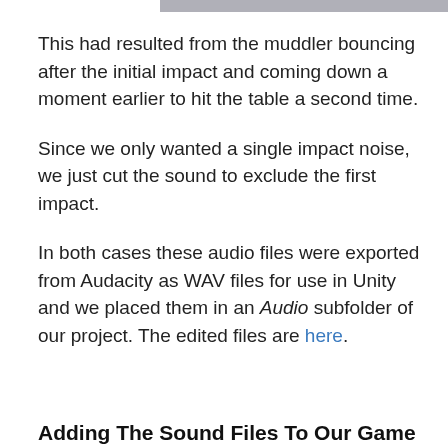[Figure (other): Partial gray image strip at top of page]
This had resulted from the muddler bouncing after the initial impact and coming down a moment earlier to hit the table a second time.
Since we only wanted a single impact noise, we just cut the sound to exclude the first impact.
In both cases these audio files were exported from Audacity as WAV files for use in Unity and we placed them in an Audio subfolder of our project. The edited files are here.
Adding The Sound Files To Our Game